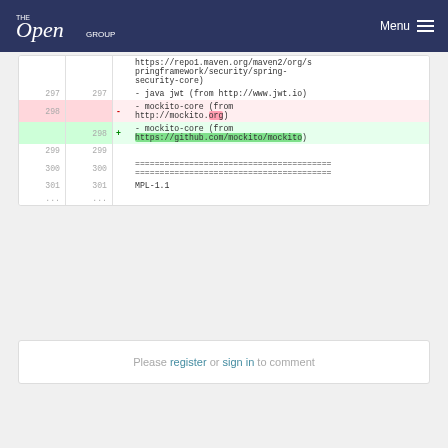The Open Group — Menu
| old | new | sign | code |
| --- | --- | --- | --- |
|  |  |  | https://repo1.maven.org/maven2/org/springframework/security/spring-security-core) |
| 297 | 297 |  | - java jwt (from http://www.jwt.io) |
| 298 |  | - | - mockito-core (from http://mockito.org) |
|  | 298 | + | - mockito-core (from https://github.com/mockito/mockito) |
| 299 | 299 |  |  |
| 300 | 300 |  | ======================================== ======================================== |
| 301 | 301 |  | MPL-1.1 |
| ... | ... |  |  |
Please register or sign in to comment